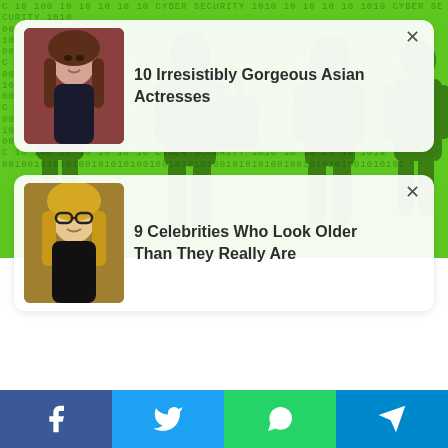[Figure (screenshot): Green cyber security background with binary/hex text pattern and dark silhouettes of people]
10 Irresistibly Gorgeous Asian Actresses
9 Celebrities Who Look Older Than They Really Are
[Figure (infographic): Social sharing bar with Facebook, Twitter, WhatsApp, and Telegram buttons]